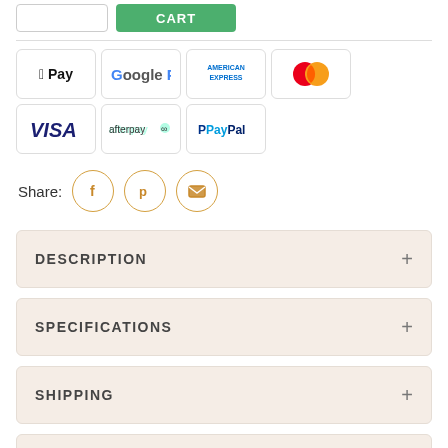[Figure (screenshot): Top bar with quantity input box and green CART button]
[Figure (infographic): Payment method badges: Apple Pay, Google Pay, American Express, Mastercard, Visa, Afterpay, PayPal]
Share:
[Figure (infographic): Social share icons: Facebook (f), Pinterest (p), Email (envelope) — circular orange-outlined buttons]
DESCRIPTION
SPECIFICATIONS
SHIPPING
WARRANTY